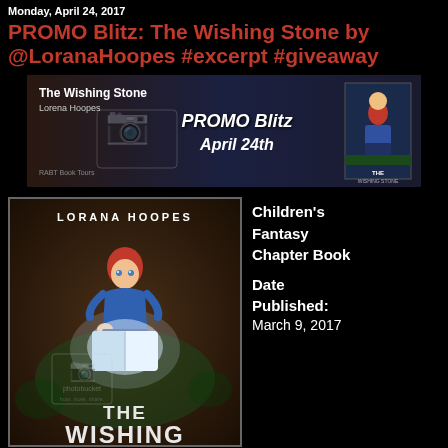Monday, April 24, 2017
PROMO Blitz: The Wishing Stone by @LoranaHoopes #excerpt #giveaway
[Figure (illustration): Promotional banner for The Wishing Stone by Lorena Hoopes. RABT Book Tours banner showing book title, author name, 'PROMO Blitz April 24th' text, and a small book cover image on the right with a boy illustration.]
[Figure (illustration): Book cover of 'The Wishing Stone' by Lorana Hoopes. Shows a red-haired boy sitting cross-legged reading a glowing book on a green background. Title 'THE WISHING' visible at the bottom. Photobucket watermark overlay.]
Children's Fantasy Chapter Book  Date Published: March 9, 2017